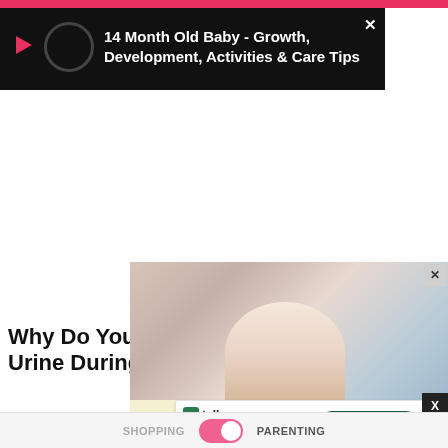[Figure (screenshot): Video popup overlay on dark background showing play button, loading circle, and title '14 Month Old Baby - Growth, Development, Activities & Care Tips']
14 Month Old Baby - Growth, Development, Activities & Care Tips
[Figure (photo): Baby crawling on floor, app advertisement banner with 'UPGRADE TO APP' and Apple/Android icons, 'INSTALL NOW' button, and '15M Parents | 10K+ Articles | 20+ Tools For Moms-to-be']
Why Do You Need to Test for Protein in Urine During Pregnancy?
A test [...]rtant as it h[...] the
[Figure (screenshot): Tally ad overlay: 'Fast credit card payoff' with Download Now button and X close button]
SHOPPING    PARENTING